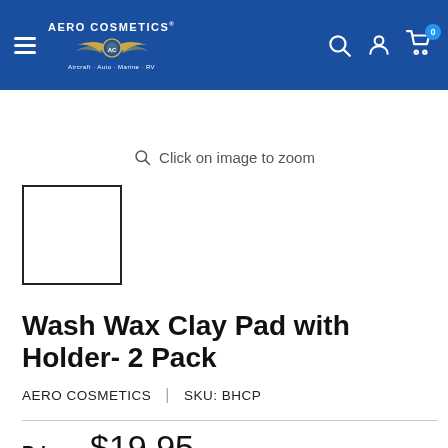Aero Cosmetics — Aircraft · Auto · Marine · RV
Click on image to zoom
[Figure (photo): Small thumbnail placeholder square for product image]
Wash Wax Clay Pad with Holder- 2 Pack
AERO COSMETICS | SKU: BHCP
Price: $19.95